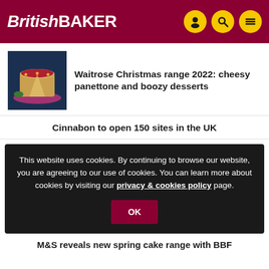BritishBAKER
Waitrose Christmas range 2022: cheesy panettone and boozy desserts
Cinnabon to open 150 sites in the UK
This website uses cookies. By continuing to browse our website, you are agreeing to our use of cookies. You can learn more about cookies by visiting our privacy & cookies policy page.
OK
M&S reveals new spring cake range with BBF